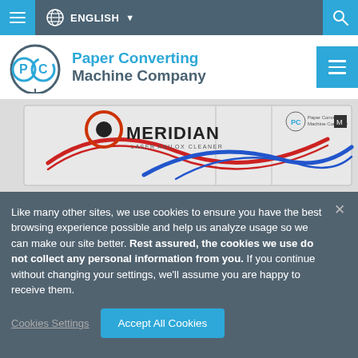ENGLISH
[Figure (logo): Paper Converting Machine Company logo with PC circular emblem]
[Figure (photo): MERIDIAN Laser Anilox Cleaner machine by Paper Converting Machine Company, white cabinet with red and blue wave graphics]
Like many other sites, we use cookies to ensure you have the best browsing experience possible and help us analyze usage so we can make our site better. Rest assured, the cookies we use do not collect any personal information from you. If you continue without changing your settings, we'll assume you are happy to receive them.
Cookies Settings
Accept All Cookies